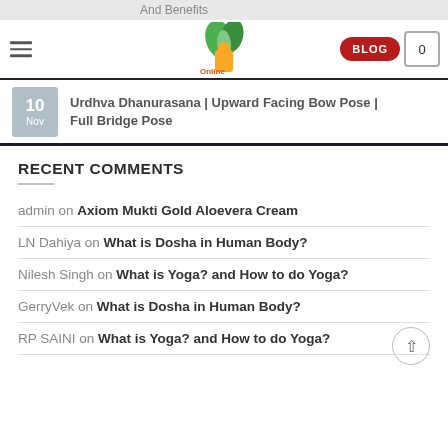And Benefits
Urdhva Dhanurasana | Upward Facing Bow Pose | Full Bridge Pose
RECENT COMMENTS
admin on Axiom Mukti Gold Aloevera Cream
LN Dahiya on What is Dosha in Human Body?
Nilesh Singh on What is Yoga? and How to do Yoga?
GerryVek on What is Dosha in Human Body?
RP SAINI on What is Yoga? and How to do Yoga?